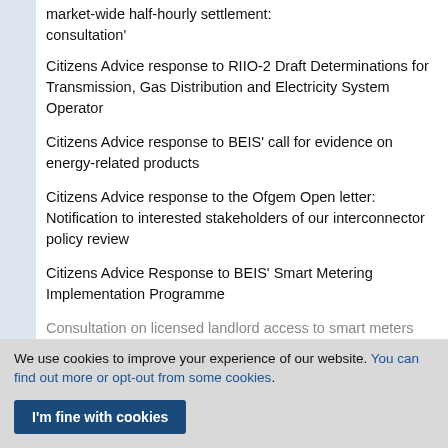market-wide half-hourly settlement: consultation'
Citizens Advice response to RIIO-2 Draft Determinations for Transmission, Gas Distribution and Electricity System Operator
Citizens Advice response to BEIS' call for evidence on energy-related products
Citizens Advice response to the Ofgem Open letter: Notification to interested stakeholders of our interconnector policy review
Citizens Advice Response to BEIS' Smart Metering Implementation Programme
Consultation on licensed landlord access to smart meters (partially visible, faded)
We use cookies to improve your experience of our website. You can find out more or opt-out from some cookies.
I'm fine with cookies